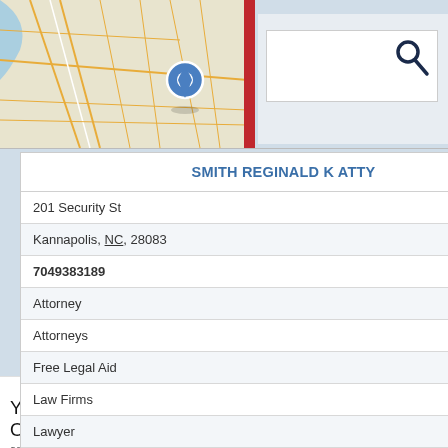[Figure (map): Street map thumbnail with blue location pin and red vertical bar, showing road network]
[Figure (screenshot): Search input box with magnifying glass icon]
SMITH REGINALD K ATTY
201 Security St
Kannapolis, NC, 28083
7049383189
Attorney
Attorneys
Free Legal Aid
Law Firms
Lawyer
[Figure (map): Street map thumbnail with blue location pin showing road network in Kannapolis area]
Yokosuka, Korea, Hawaii - Okinawa, Kadena, Iwakuni
adverse actions or discrimination at work. Contact us today for a free consultation. ersslaw.com